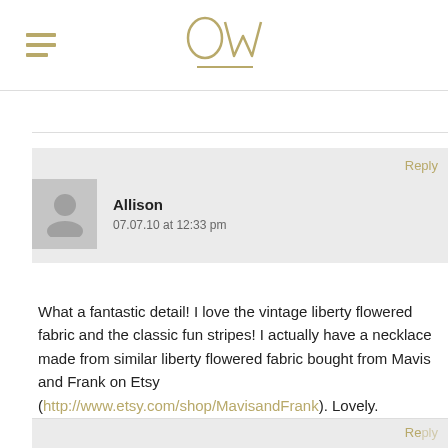OW (logo with hamburger menu)
Reply
Allison
07.07.10 at 12:33 pm
What a fantastic detail! I love the vintage liberty flowered fabric and the classic fun stripes! I actually have a necklace made from similar liberty flowered fabric bought from Mavis and Frank on Etsy (http://www.etsy.com/shop/MavisandFrank). Lovely.